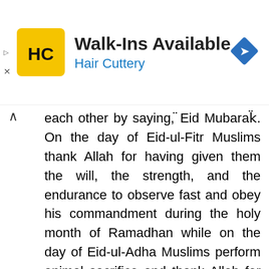[Figure (screenshot): Hair Cuttery advertisement banner with logo, text 'Walk-Ins Available' and 'Hair Cuttery', and a blue navigation diamond icon]
each other by saying, "Eid Mubarak". On the day of Eid-ul-Fitr Muslims thank Allah for having given them the will, the strength, and the endurance to observe fast and obey his commandment during the holy month of Ramadhan while on the day of Eid-ul-Adha Muslims perform animal sacrifice and thank Allah for giving this opportunity.
In the category of Eid Mubarak,  you will find out the best Eid Mubarak Wishes, Eid Mubarak Quotes, Eid Mubarak Poems, Eid Mubarak Greetings, Eid Mubarak Wallpapers, Eid Mubarak Images, Eid Mubarak SMS